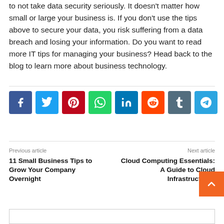to not take data security seriously. It doesn't matter how small or large your business is. If you don't use the tips above to secure your data, you risk suffering from a data breach and losing your information. Do you want to read more IT tips for managing your business? Head back to the blog to learn more about business technology.
[Figure (infographic): Row of 8 social media sharing buttons: Facebook (dark blue), Twitter (light blue), Pinterest (red), WhatsApp (green), LinkedIn (dark blue), Reddit (orange), Tumblr (slate), Telegram (blue)]
Previous article
11 Small Business Tips to Grow Your Company Overnight
Next article
Cloud Computing Essentials: A Guide to Cloud Infrastructures